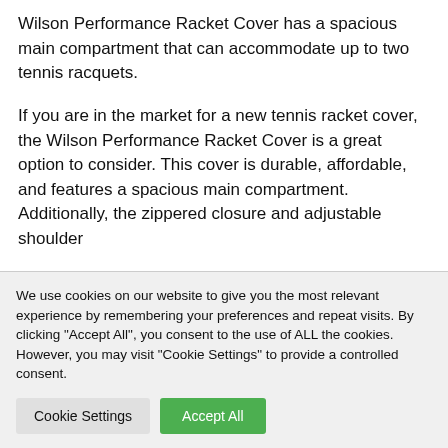Wilson Performance Racket Cover has a spacious main compartment that can accommodate up to two tennis racquets.
If you are in the market for a new tennis racket cover, the Wilson Performance Racket Cover is a great option to consider. This cover is durable, affordable, and features a spacious main compartment. Additionally, the zippered closure and adjustable shoulder
We use cookies on our website to give you the most relevant experience by remembering your preferences and repeat visits. By clicking "Accept All", you consent to the use of ALL the cookies. However, you may visit "Cookie Settings" to provide a controlled consent.